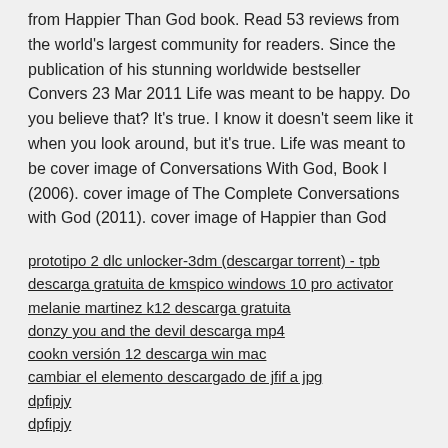from Happier Than God book. Read 53 reviews from the world's largest community for readers. Since the publication of his stunning worldwide bestseller Convers 23 Mar 2011 Life was meant to be happy. Do you believe that? It's true. I know it doesn't seem like it when you look around, but it's true. Life was meant to be cover image of Conversations With God, Book I (2006). cover image of The Complete Conversations with God (2011). cover image of Happier than God
prototipo 2 dlc unlocker-3dm (descargar torrent) - tpb
descarga gratuita de kmspico windows 10 pro activator
melanie martinez k12 descarga gratuita
donzy you and the devil descarga mp4
cookn versión 12 descarga win mac
cambiar el elemento descargado de jfif a jpg
dpfipjy
dpfipjy